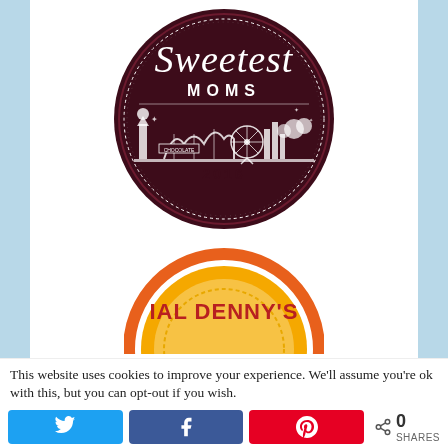[Figure (logo): Sweetest Moms 2016 circular badge logo in dark maroon/burgundy with white script text 'Sweetest' and 'MOMS', amusement park skyline silhouette with roller coaster, ferris wheel, and 'CHOCOLATE' label, dated 2016]
[Figure (logo): Partial Denny's logo in orange and red colors, showing 'IAL DENNY'S' text in circular badge format]
This website uses cookies to improve your experience. We'll assume you're ok with this, but you can opt-out if you wish.
[Figure (infographic): Social share buttons: Twitter (blue), Facebook (blue), Pinterest (red), and share count showing 0 SHARES]